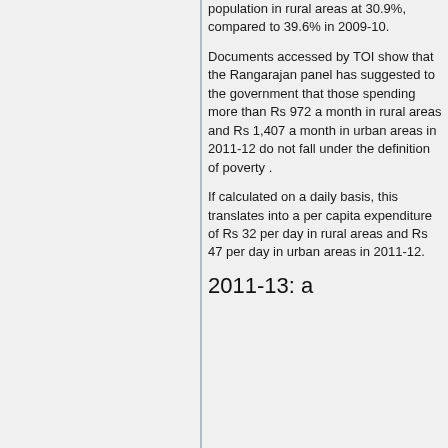population in rural areas at 30.9%, compared to 39.6% in 2009-10.
Documents accessed by TOI show that the Rangarajan panel has suggested to the government that those spending more than Rs 972 a month in rural areas and Rs 1,407 a month in urban areas in 2011-12 do not fall under the definition of poverty .
If calculated on a daily basis, this translates into a per capita expenditure of Rs 32 per day in rural areas and Rs 47 per day in urban areas in 2011-12.
2011-13: a